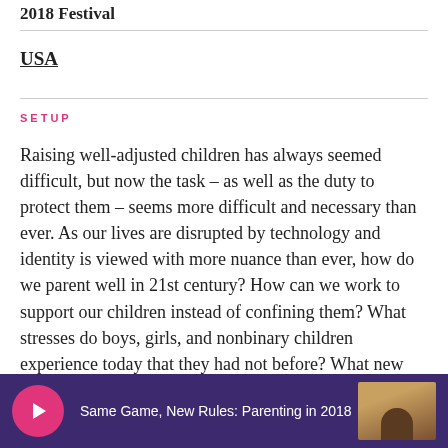2018 Festival
USA
SETUP
Raising well-adjusted children has always seemed difficult, but now the task – as well as the duty to protect them – seems more difficult and necessary than ever. As our lives are disrupted by technology and identity is viewed with more nuance than ever, how do we parent well in 21st century? How can we work to support our children instead of confining them? What stresses do boys, girls, and nonbinary children experience today that they had not before? What new opportunities do our children have and how do we use them for the...
Same Game, New Rules: Parenting in 2018